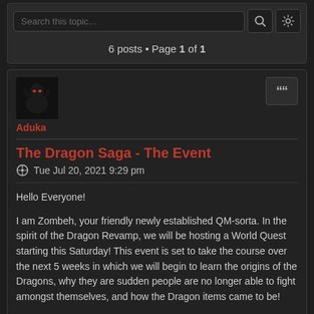[Figure (screenshot): Forum search bar with search input field, magnifying glass icon, and settings gear icon]
6 posts • Page 1 of 1
[Figure (photo): User avatar image showing a dark figure with red eyes]
Aduka
The Dragon Saga - The Event
Tue Jul 20, 2021 9:29 pm
Hello Everyone!

I am Zombeh, your friendly newly established QM-sorta. In the spirit of the Dragon Revamp, we will be hosting a World Quest starting this Saturday! This event is set to take the course over the next 5 weeks in which we will begin to learn the origins of the Dragons, why they are sudden people are no longer able to fight amongst themselves, and how the Dragon items came to be!